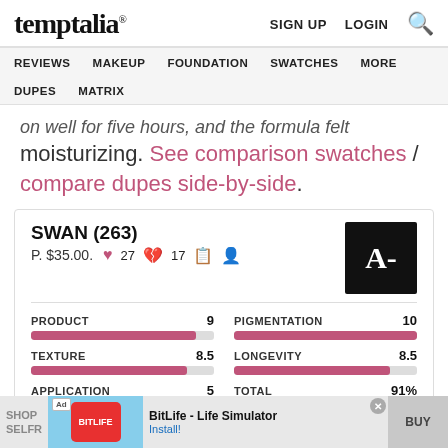temptalia® | SIGN UP  LOGIN  🔍
REVIEWS  MAKEUP  FOUNDATION  SWATCHES  MORE  DUPES  MATRIX
on well for five hours, and the formula felt moisturizing. See comparison swatches / compare dupes side-by-side.
| Metric | Value |
| --- | --- |
| PRODUCT | 9 |
| TEXTURE | 8.5 |
| APPLICATION | 5 |
| PIGMENTATION | 10 |
| LONGEVITY | 8.5 |
| TOTAL | 91% |
SWAN (263) P. $35.00. ♥ 27  💔 17  Grade: A-